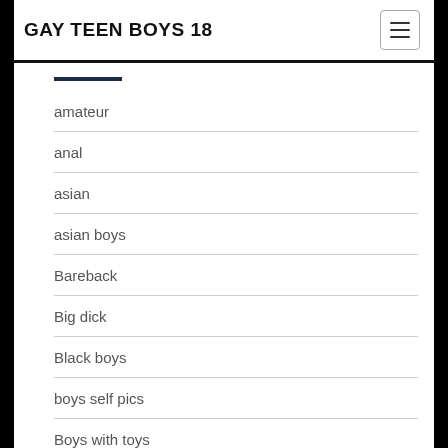GAY TEEN BOYS 18
amateur
anal
asian
asian boys
Bareback
Big dick
Black boys
boys self pics
Boys with toys